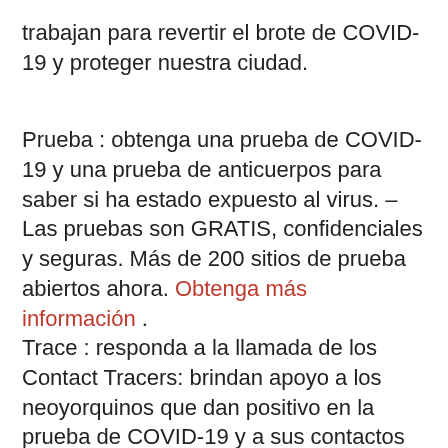trabajan para revertir el brote de COVID-19 y proteger nuestra ciudad.
Prueba : obtenga una prueba de COVID-19 y una prueba de anticuerpos para saber si ha estado expuesto al virus. – Las pruebas son GRATIS, confidenciales y seguras. Más de 200 sitios de prueba abiertos ahora. Obtenga más información . Trace : responda a la llamada de los Contact Tracers: brindan apoyo a los neoyorquinos que dan positivo en la prueba de COVID-19 y a sus contactos cercanos. Obtenga más información . Cuídese – Protéjase y proteja a sus seres queridos – Aísle de forma segura en una habitación de hotel libre, cómoda y conveniente o en su casa. Obtenga